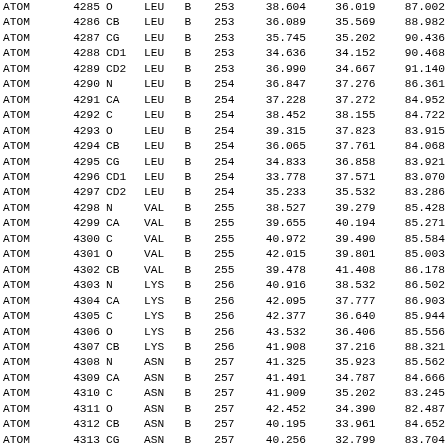| Record | Serial | Atom | Res | Chain | SeqNum | X | Y | Z |
| --- | --- | --- | --- | --- | --- | --- | --- | --- |
| ATOM | 4285 | O | LEU | B | 253 | 38.604 | 36.019 | 87.002 |
| ATOM | 4286 | CB | LEU | B | 253 | 36.089 | 35.569 | 88.982 |
| ATOM | 4287 | CG | LEU | B | 253 | 35.745 | 35.202 | 90.436 |
| ATOM | 4288 | CD1 | LEU | B | 253 | 34.636 | 34.152 | 90.468 |
| ATOM | 4289 | CD2 | LEU | B | 253 | 36.990 | 34.667 | 91.140 |
| ATOM | 4290 | N | LEU | B | 254 | 36.847 | 37.276 | 86.361 |
| ATOM | 4291 | CA | LEU | B | 254 | 37.228 | 37.272 | 84.952 |
| ATOM | 4292 | C | LEU | B | 254 | 38.452 | 38.155 | 84.722 |
| ATOM | 4293 | O | LEU | B | 254 | 39.315 | 37.823 | 83.915 |
| ATOM | 4294 | CB | LEU | B | 254 | 36.065 | 37.761 | 84.068 |
| ATOM | 4295 | CG | LEU | B | 254 | 34.833 | 36.858 | 83.921 |
| ATOM | 4296 | CD1 | LEU | B | 254 | 33.778 | 37.571 | 83.070 |
| ATOM | 4297 | CD2 | LEU | B | 254 | 35.233 | 35.532 | 83.286 |
| ATOM | 4298 | N | VAL | B | 255 | 38.527 | 39.279 | 85.428 |
| ATOM | 4299 | CA | VAL | B | 255 | 39.655 | 40.194 | 85.271 |
| ATOM | 4300 | C | VAL | B | 255 | 40.972 | 39.490 | 85.584 |
| ATOM | 4301 | O | VAL | B | 255 | 42.015 | 39.801 | 85.003 |
| ATOM | 4302 | CB | VAL | B | 255 | 39.478 | 41.408 | 86.178 |
| ATOM | 4303 | N | LYS | B | 256 | 40.916 | 38.532 | 86.502 |
| ATOM | 4304 | CA | LYS | B | 256 | 42.095 | 37.777 | 86.903 |
| ATOM | 4305 | C | LYS | B | 256 | 42.377 | 36.640 | 85.944 |
| ATOM | 4306 | O | LYS | B | 256 | 43.532 | 36.406 | 85.556 |
| ATOM | 4307 | CB | LYS | B | 256 | 41.908 | 37.216 | 88.321 |
| ATOM | 4308 | N | ASN | B | 257 | 41.325 | 35.923 | 85.562 |
| ATOM | 4309 | CA | ASN | B | 257 | 41.491 | 34.787 | 84.666 |
| ATOM | 4310 | C | ASN | B | 257 | 41.909 | 35.202 | 83.245 |
| ATOM | 4311 | O | ASN | B | 257 | 42.452 | 34.390 | 82.487 |
| ATOM | 4312 | CB | ASN | B | 257 | 40.195 | 33.961 | 84.652 |
| ATOM | 4313 | CG | ASN | B | 257 | 40.256 | 32.799 | 83.704 |
| ATOM | 4314 | OD1 | ASN | B | 257 | 40.181 | 32.974 | 82.492 |